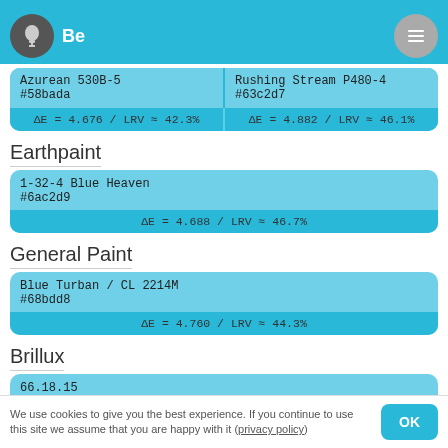Behr
| Color Name / Hex | ΔE / LRV |
| --- | --- |
| Azurean 530B-5
#58bada | ΔE = 4.676 / LRV ≈ 42.3% |
| Rushing Stream P480-4
#63c2d7 | ΔE = 4.882 / LRV ≈ 46.1% |
Earthpaint
| Color Name | Hex | ΔE / LRV |
| --- | --- | --- |
| 1-32-4 Blue Heaven | #6ac2d9 | ΔE = 4.688 / LRV ≈ 46.7% |
General Paint
| Color Name | Hex | ΔE / LRV |
| --- | --- | --- |
| Blue Turban / CL 2214M | #68bdd8 | ΔE = 4.760 / LRV ≈ 44.3% |
Brillux
| Color Name |
| --- |
| 66.18.15 |
We use cookies to give you the best experience. If you continue to use this site we assume that you are happy with it (privacy policy)